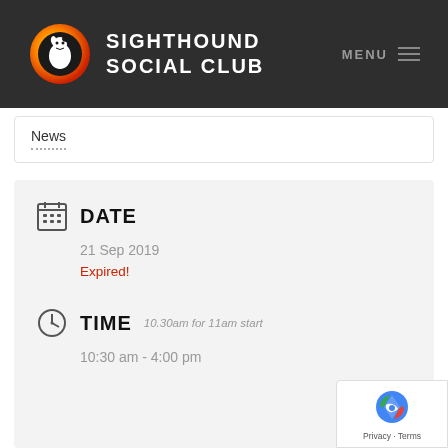[Figure (logo): Sighthound Social Club logo with orange circle and white dog silhouette]
SIGHTHOUND SOCIAL CLUB | MENU
News
DATE
21 Sep 2019
Expired!
TIME 10.30am for 11am start
10:30 am - 4:00 pm